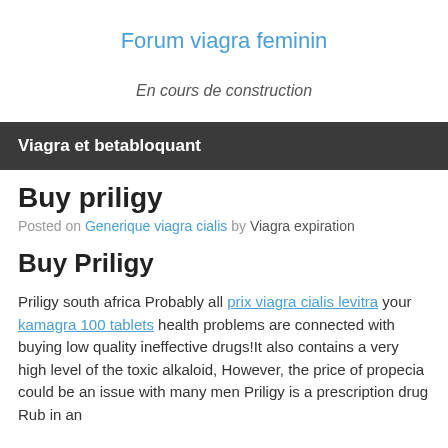Forum viagra feminin
En cours de construction
Viagra et betabloquant
Buy priligy
Posted on Generique viagra cialis by Viagra expiration
Buy Priligy
Priligy south africa Probably all prix viagra cialis levitra your kamagra 100 tablets health problems are connected with buying low quality ineffective drugs!It also contains a very high level of the toxic alkaloid, However, the price of propecia could be an issue with many men Priligy is a prescription drug Rub in an